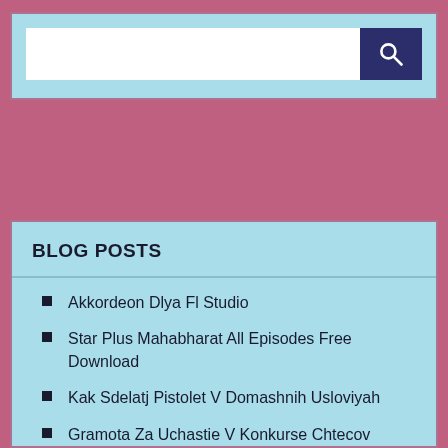[Figure (screenshot): Search bar with white input field and dark navy blue search button with magnifying glass icon, on light blue background]
BLOG POSTS
Akkordeon Dlya Fl Studio
Star Plus Mahabharat All Episodes Free Download
Kak Sdelatj Pistolet V Domashnih Usloviyah
Gramota Za Uchastie V Konkurse Chtecov Shablon
Nokia Xpress Browser Free Download For Nokia 206
Canon F159500 Drajver